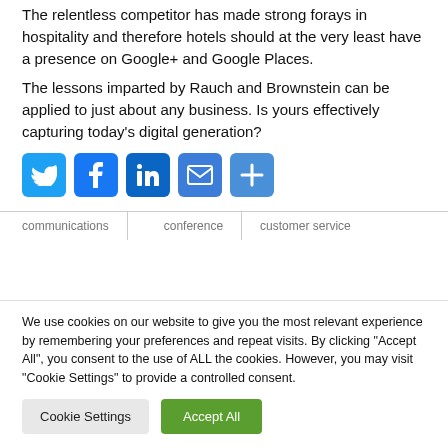The relentless competitor has made strong forays in hospitality and therefore hotels should at the very least have a presence on Google+ and Google Places.
The lessons imparted by Rauch and Brownstein can be applied to just about any business. Is yours effectively capturing today's digital generation?
[Figure (infographic): Social media sharing icons: Twitter (blue bird), Facebook (blue f), LinkedIn (blue in), Email (blue envelope), More/Share (blue plus sign)]
communications
conference
customer service
We use cookies on our website to give you the most relevant experience by remembering your preferences and repeat visits. By clicking "Accept All", you consent to the use of ALL the cookies. However, you may visit "Cookie Settings" to provide a controlled consent.